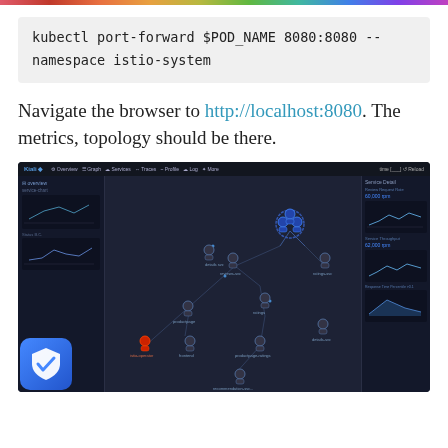kubectl port-forward $POD_NAME 8080:8080 --namespace istio-system
Navigate the browser to http://localhost:8080. The metrics, topology should be there.
[Figure (screenshot): A dark-themed Kiali service mesh dashboard showing a topology/graph view of microservices connected by lines, with a left panel showing service details and charts, a right panel showing service detail metrics, and various service nodes like productpage, details, reviews, ratings, etc. connected in a network graph. A blue shield/security badge is visible in the bottom-left corner of the screenshot.]